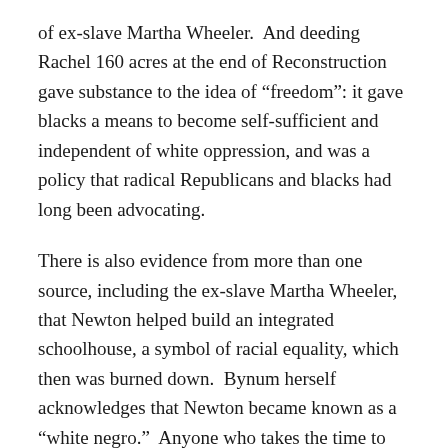of ex-slave Martha Wheeler.  And deeding Rachel 160 acres at the end of Reconstruction gave substance to the idea of “freedom”: it gave blacks a means to become self-sufficient and independent of white oppression, and was a policy that radical Republicans and blacks had long been advocating.
There is also evidence from more than one source, including the ex-slave Martha Wheeler, that Newton helped build an integrated schoolhouse, a symbol of racial equality, which then was burned down.  Bynum herself acknowledges that Newton became known as a “white negro.”  Anyone who takes the time to walk to Newton’s gravestone will realize that he was buried with his black family, effectively in a black cemetery, at a time when cemeteries were segregated.  And they would read Newton’s epitaph:  “He lived for others.”